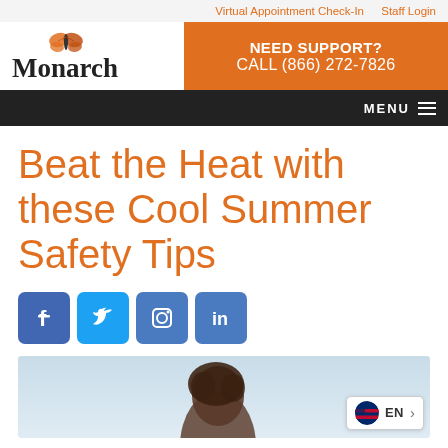Virtual Appointment Check-In   Staff Login
[Figure (logo): Monarch logo with butterfly icon and serif wordmark 'Monarch']
NEED SUPPORT? CALL (866) 272-7826
MENU
Beat the Heat with these Cool Summer Safety Tips
[Figure (infographic): Social media share icons: Facebook, Twitter, Instagram, LinkedIn]
[Figure (photo): Photo of a person outdoors with blue sky background, with EN language selector overlay]